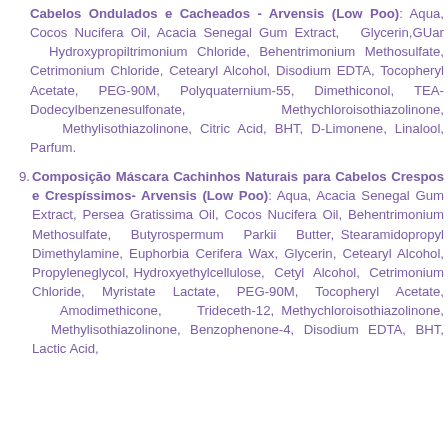Cabelos Ondulados e Cacheados - Arvensis (Low Poo): Aqua, Cocos Nucifera Oil, Acacia Senegal Gum Extract, Glycerin,GUar Hydroxypropiltrimonium Chloride, Behentrimonium Methosulfate, Cetrimonium Chloride, Cetearyl Alcohol, Disodium EDTA, Tocopheryl Acetate, PEG-90M, Polyquaternium-55, Dimethiconol, TEA-Dodecylbenzenesulfonate, Methychloroisothiazolinone, Methylisothiazolinone, Citric Acid, BHT, D-Limonene, Linalool, Parfum.
9. Composição Máscara Cachinhos Naturais para Cabelos Crespos e Crespíssimos- Arvensis (Low Poo): Aqua, Acacia Senegal Gum Extract, Persea Gratissima Oil, Cocos Nucifera Oil, Behentrimonium Methosulfate, Butyrospermum Parkii Butter, Stearamidopropyl Dimethylamine, Euphorbia Cerifera Wax, Glycerin, Cetearyl Alcohol, Propyleneglycol, Hydroxyethylcellulose, Cetyl Alcohol, Cetrimonium Chloride, Myristate Lactate, PEG-90M, Tocopheryl Acetate, Amodimethicone, Trideceth-12, Methychloroisothiazolinone, Methylisothiazolinone, Benzophenone-4, Disodium EDTA, BHT, Lactic Acid,